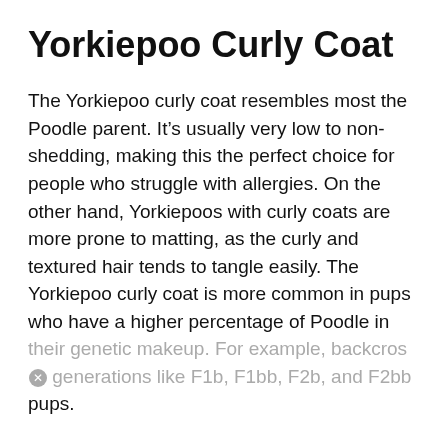Yorkiepoo Curly Coat
The Yorkiepoo curly coat resembles most the Poodle parent. It’s usually very low to non-shedding, making this the perfect choice for people who struggle with allergies. On the other hand, Yorkiepoos with curly coats are more prone to matting, as the curly and textured hair tends to tangle easily. The Yorkiepoo curly coat is more common in pups who have a higher percentage of Poodle in their genetic makeup. For example, backcross generations like F1b, F1bb, F2b, and F2bb pups.